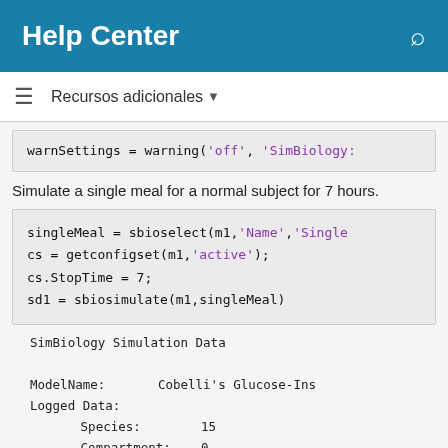Help Center
Recursos adicionales ▼
warnSettings = warning('off', 'SimBiology:
Simulate a single meal for a normal subject for 7 hours.
singleMeal = sbioselect(m1,'Name','Single
cs = getconfigset(m1,'active');
cs.StopTime = 7;
sd1 = sbiosimulate(m1,singleMeal)
SimBiology Simulation Data

ModelName:       Cobelli's Glucose-Ins
Logged Data:
   Species:        15
   Compartment:    0
   Parameter:      24
   Sensitivity:    0